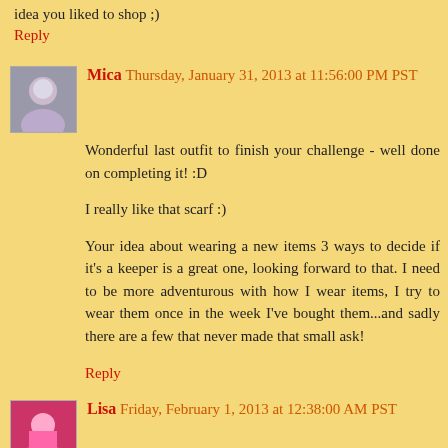idea you liked to shop ;)
Reply
Mica  Thursday, January 31, 2013 at 11:56:00 PM PST
Wonderful last outfit to finish your challenge - well done on completing it! :D
I really like that scarf :)
Your idea about wearing a new items 3 ways to decide if it's a keeper is a great one, looking forward to that. I need to be more adventurous with how I wear items, I try to wear them once in the week I've bought them...and sadly there are a few that never made that small ask!
Reply
Lisa  Friday, February 1, 2013 at 12:38:00 AM PST
The skirt and boots are very sexy....but a modest sexy